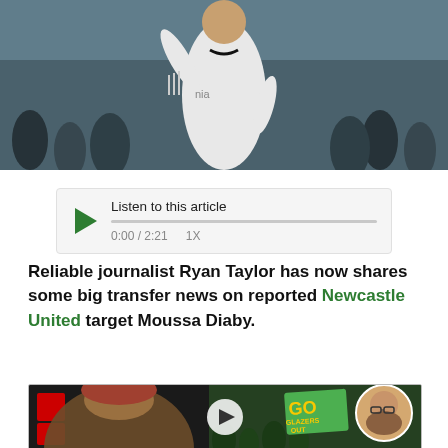[Figure (photo): Football player in white kit celebrating, with crowd in background]
Listen to this article 0:00 / 2:21 1X
Reliable journalist Ryan Taylor has now shares some big transfer news on reported Newcastle United target Moussa Diaby.
[Figure (photo): Man with long hair in foreground, crowd with GO GLAZERS OUT sign and circular inset photo of bald man with glasses, video play button overlay]